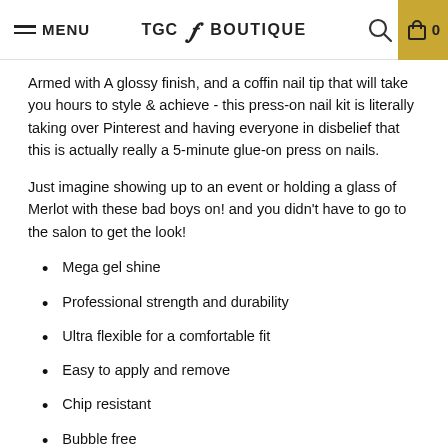MENU | TGC BOUTIQUE | 0
Armed with A glossy finish, and a coffin nail tip that will take you hours to style & achieve - this press-on nail kit is literally taking over Pinterest and having everyone in disbelief that this is actually really a 5-minute glue-on press on nails.
Just imagine showing up to an event or holding a glass of Merlot with these bad boys on! and you didn't have to go to the salon to get the look!
Mega gel shine
Professional strength and durability
Ultra flexible for a comfortable fit
Easy to apply and remove
Chip resistant
Bubble free